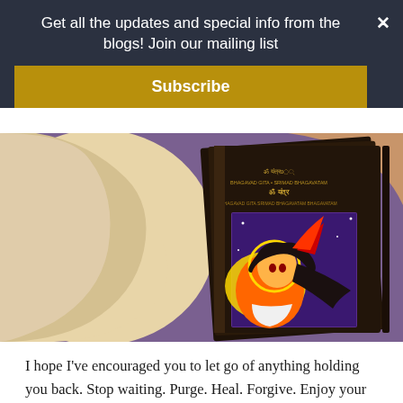Get all the updates and special info from the blogs! Join our mailing list
Subscribe
[Figure (photo): A photo showing a book with Indian/Hindu artistic cover featuring a colorful illustration of a deity figure, placed next to cream-colored fabric/clothing on a purple background]
I hope I've encouraged you to let go of anything holding you back. Stop waiting. Purge. Heal. Forgive. Enjoy your moments. Make room for new opportunities and new growth in life. Write